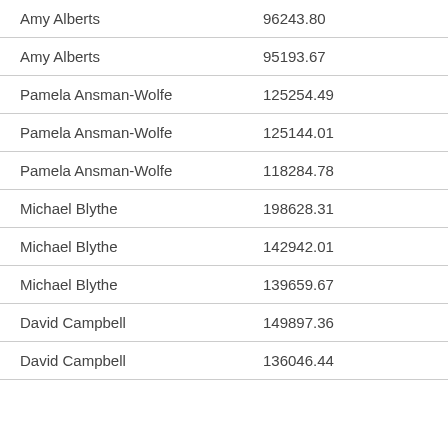| Name | Value |
| --- | --- |
| Amy Alberts | 96243.80 |
| Amy Alberts | 95193.67 |
| Pamela Ansman-Wolfe | 125254.49 |
| Pamela Ansman-Wolfe | 125144.01 |
| Pamela Ansman-Wolfe | 118284.78 |
| Michael Blythe | 198628.31 |
| Michael Blythe | 142942.01 |
| Michael Blythe | 139659.67 |
| David Campbell | 149897.36 |
| David Campbell | 136046.44 |